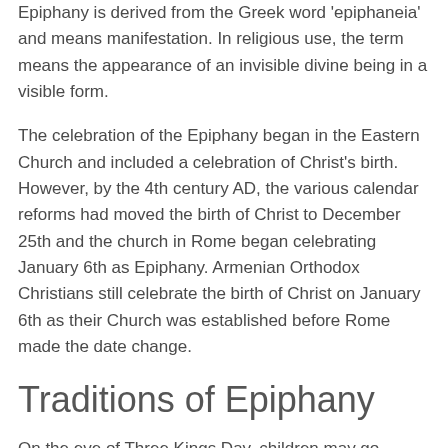Epiphany is derived from the Greek word 'epiphaneia' and means manifestation. In religious use, the term means the appearance of an invisible divine being in a visible form.
The celebration of the Epiphany began in the Eastern Church and included a celebration of Christ's birth. However, by the 4th century AD, the various calendar reforms had moved the birth of Christ to December 25th and the church in Rome began celebrating January 6th as Epiphany. Armenian Orthodox Christians still celebrate the birth of Christ on January 6th as their Church was established before Rome made the date change.
Traditions of Epiphany
On the eve of Three Kings Day, children may go outside and pick up grass and put it in a